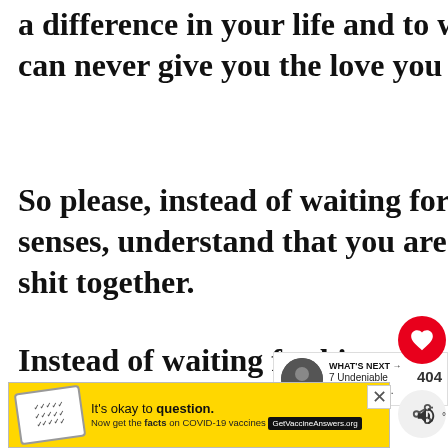a difference in your life and to walk away from someone who can never give you the love you deserve.
So please, instead of waiting for this man to come to his senses, understand that you are the one who needs to get her shit together.
Instead of waiting for him to finally pick you, choose yourself over his
[Figure (screenshot): COVID-19 vaccine advertisement banner with yellow background, logo, text 'It's okay to question. Now get the facts on COVID-19 vaccines' and GetVaccineAnswers.org button]